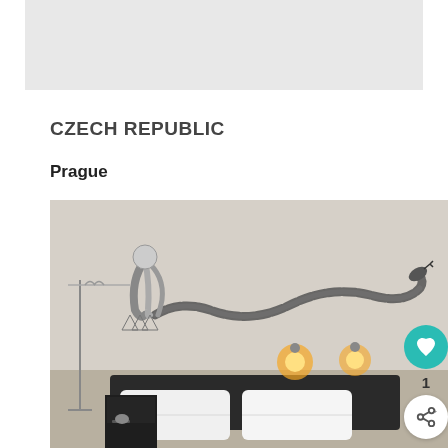[Figure (photo): Top portion of a webpage or document with a light gray header image area at the top]
CZECH REPUBLIC
Prague
[Figure (photo): Hotel room photo showing a wall mural with a large illustrated snake and a woman figure with long hair, a dark wooden bed headboard with white pillows, wall-mounted lights glowing warmly, and a black bedside table. UI elements visible: a teal heart/like button with '1' count below it, and a share button.]